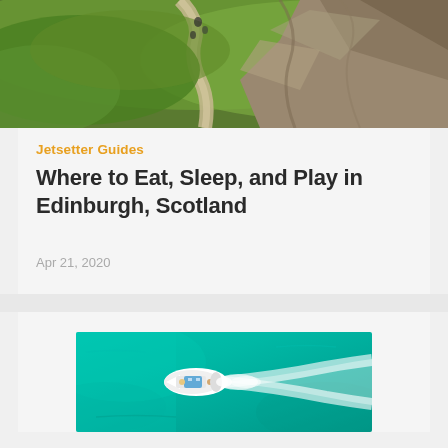[Figure (photo): Aerial view of a green rocky coastal or hillside path with people walking, lush grass and stone cliffs visible from above]
Jetsetter Guides
Where to Eat, Sleep, and Play in Edinburgh, Scotland
Apr 21, 2020
[Figure (photo): Aerial top-down view of a white motorboat traveling through bright turquoise water, leaving a white wake trail behind it]